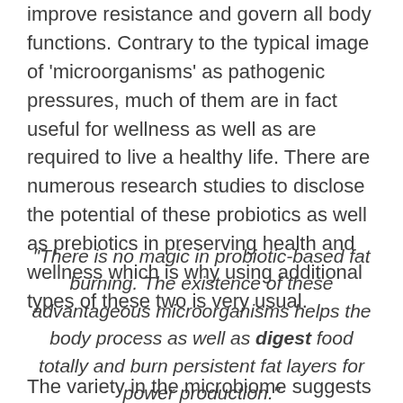improve resistance and govern all body functions. Contrary to the typical image of 'microorganisms' as pathogenic pressures, much of them are in fact useful for wellness as well as are required to live a healthy life. There are numerous research studies to disclose the potential of these probiotics as well as prebiotics in preserving health and wellness which is why using additional types of these two is very usual.
“There is no magic in probiotic-based fat burning. The existence of these advantageous microorganisms helps the body process as well as digest food totally and burn persistent fat layers for power production.”
The variety in the microbiome suggests leanbiome